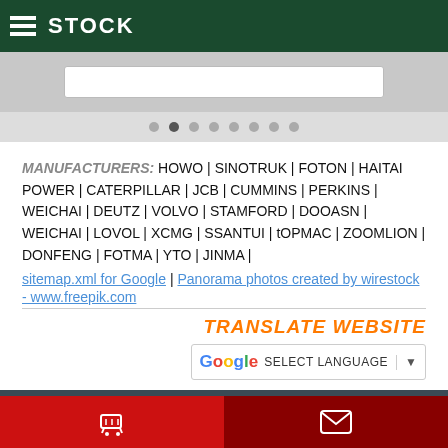STOCK
MANUFACTURERS: HOWO | SINOTRUK | FOTON | HAITAI POWER | CATERPILLAR | JCB | CUMMINS | PERKINS | WEICHAI | DEUTZ | VOLVO | STAMFORD | DOOASN | WEICHAI | LOVOL | XCMG | SSANTUI | tOPMAC | ZOOMLION | DONFENG | FOTMA | YTO | JINMA | sitemap.xml for Google | Panorama photos created by wirestock - www.freepik.com
TRANSLATE WEBSITE
SELECT LANGUAGE
Our Latest stock | Full Stocklist | FAQ's | Our News | Export Shipping | Service